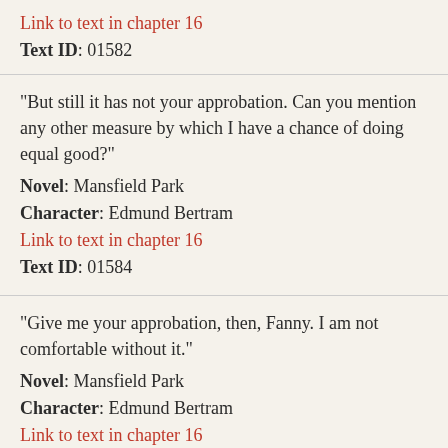Link to text in chapter 16
Text ID: 01582
"But still it has not your approbation. Can you mention any other measure by which I have a chance of doing equal good?"
Novel: Mansfield Park
Character: Edmund Bertram
Link to text in chapter 16
Text ID: 01584
"Give me your approbation, then, Fanny. I am not comfortable without it."
Novel: Mansfield Park
Character: Edmund Bertram
Link to text in chapter 16
Text ID: 01586
"If you are against me, I ought to distrust myself, and yet —But it is absolutely impossible to let Tom go on in this way, riding about the country in quest of anybody who can be persuaded to act— no matter whom; the look of a gentleman is to be enough I